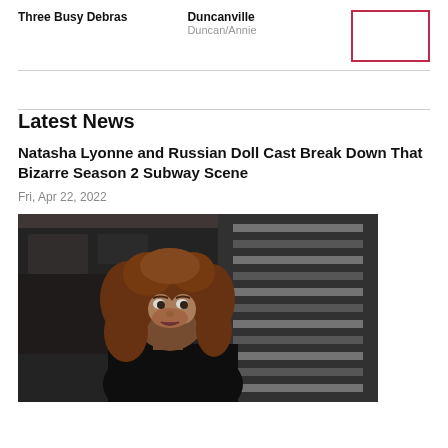Three Busy Debras
Duncanville
Duncan/Annie
Latest News
Natasha Lyonne and Russian Doll Cast Break Down That Bizarre Season 2 Subway Scene
Fri, Apr 22, 2022
[Figure (photo): A woman with long curly auburn hair wearing a dark jacket looks sideways on a subway platform. She appears to be in a scene from Russian Doll.]